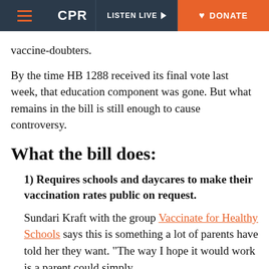CPR | LISTEN LIVE | DONATE
vaccine-doubters.
By the time HB 1288 received its final vote last week, that education component was gone. But what remains in the bill is still enough to cause controversy.
What the bill does:
1) Requires schools and daycares to make their vaccination rates public on request.
Sundari Kraft with the group Vaccinate for Healthy Schools says this is something a lot of parents have told her they want. "The way I hope it would work is a parent could simply